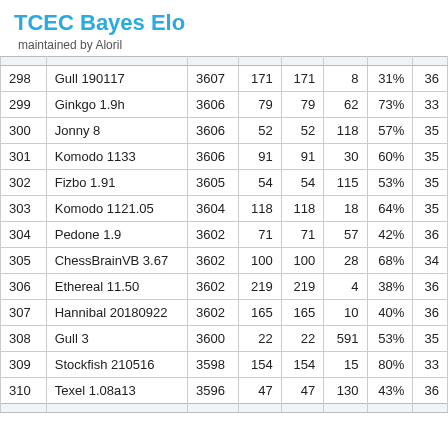TCEC Bayes Elo
maintained by Aloril
| # | Engine | Elo |  |  |  | % |  |
| --- | --- | --- | --- | --- | --- | --- | --- |
| 298 | Gull 190117 | 3607 | 171 | 171 | 8 | 31% | 36 |
| 299 | Ginkgo 1.9h | 3606 | 79 | 79 | 62 | 73% | 33 |
| 300 | Jonny 8 | 3606 | 52 | 52 | 118 | 57% | 35 |
| 301 | Komodo 1133 | 3606 | 91 | 91 | 30 | 60% | 35 |
| 302 | Fizbo 1.91 | 3605 | 54 | 54 | 115 | 53% | 35 |
| 303 | Komodo 1121.05 | 3604 | 118 | 118 | 18 | 64% | 35 |
| 304 | Pedone 1.9 | 3602 | 71 | 71 | 57 | 42% | 36 |
| 305 | ChessBrainVB 3.67 | 3602 | 100 | 100 | 28 | 68% | 34 |
| 306 | Ethereal 11.50 | 3602 | 219 | 219 | 4 | 38% | 36 |
| 307 | Hannibal 20180922 | 3602 | 165 | 165 | 10 | 40% | 36 |
| 308 | Gull 3 | 3600 | 22 | 22 | 591 | 53% | 35 |
| 309 | Stockfish 210516 | 3598 | 154 | 154 | 15 | 80% | 33 |
| 310 | Texel 1.08a13 | 3596 | 47 | 47 | 130 | 43% | 36 |